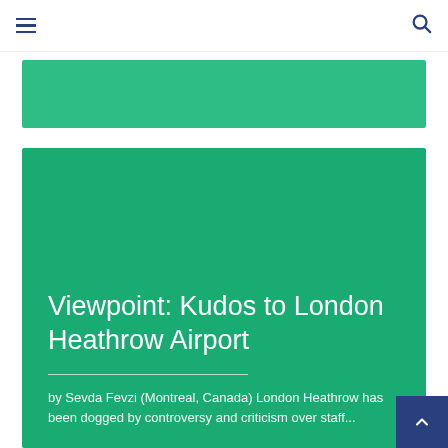☰ [menu] [search]
[Figure (other): Green banner image placeholder at top]
[Figure (other): Large green card with article preview]
Viewpoint: Kudos to London Heathrow Airport
by Sevda Fevzi (Montreal, Canada) London Heathrow has been dogged by controversy and criticism over staff...